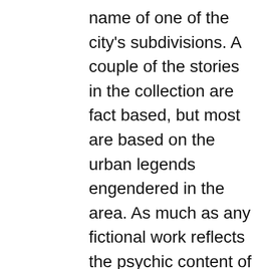name of one of the city's subdivisions. A couple of the stories in the collection are fact based, but most are based on the urban legends engendered in the area. As much as any fictional work reflects the psychic content of its author, I suppose that this work exposes the dark, troubling, imaginative and magical times of my own young life on the banks of the Detroit River.